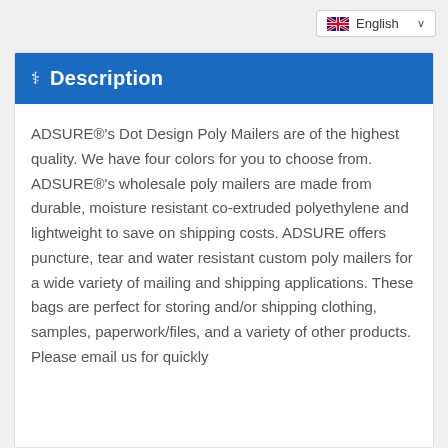[Figure (screenshot): Language selector dropdown showing UK flag and 'English' with a chevron]
Description
ADSURE®’s Dot Design Poly Mailers are of the highest quality. We have four colors for you to choose from. ADSURE®’s wholesale poly mailers are made from durable, moisture resistant co-extruded polyethylene and lightweight to save on shipping costs. ADSURE offers puncture, tear and water resistant custom poly mailers for a wide variety of mailing and shipping applications. These bags are perfect for storing and/or shipping clothing, samples, paperwork/files, and a variety of other products. Please email us for quickly